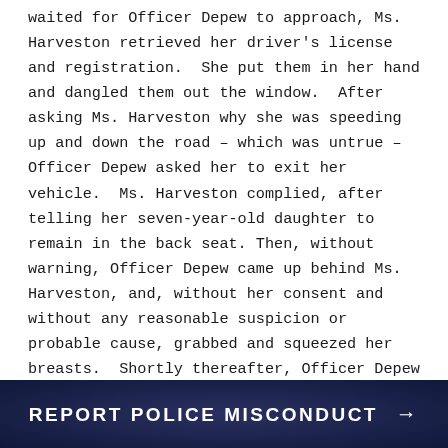waited for Officer Depew to approach, Ms. Harveston retrieved her driver's license and registration. She put them in her hand and dangled them out the window. After asking Ms. Harveston why she was speeding up and down the road – which was untrue – Officer Depew asked her to exit her vehicle. Ms. Harveston complied, after telling her seven-year-old daughter to remain in the back seat. Then, without warning, Officer Depew came up behind Ms. Harveston, and, without her consent and without any reasonable suspicion or probable cause, grabbed and squeezed her breasts. Shortly thereafter, Officer Depew violently grabbed her, told her to stop resisting arrest (even though she was not)
REPORT POLICE MISCONDUCT →